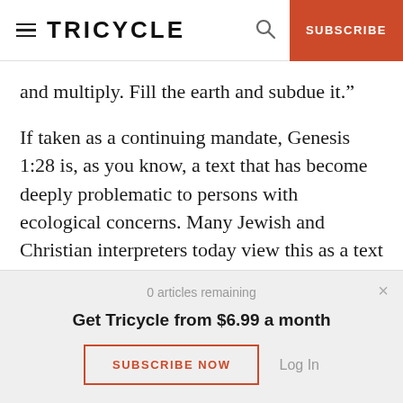TRICYCLE | SUBSCRIBE
and multiply. Fill the earth and subdue it.”
If taken as a continuing mandate, Genesis 1:28 is, as you know, a text that has become deeply problematic to persons with ecological concerns. Many Jewish and Christian interpreters today view this as a text that, if still taken literally, would give license to a devastation of our earth and its resources. The command to “subdue the earth,”
0 articles remaining
Get Tricycle from $6.99 a month
SUBSCRIBE NOW
Log In